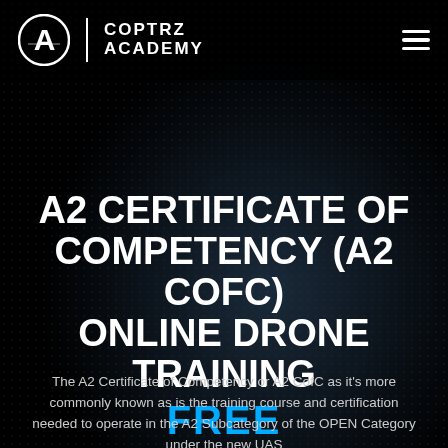[Figure (logo): Coptrz Academy logo with stylized A icon, vertical divider, and text COPTRZ ACADEMY in white on black background, with hamburger menu icon top right]
A2 CERTIFICATE OF COMPETENCY (A2 COFC) ONLINE DRONE TRAINING FREE
The A2 Certificate of Competency or A2 CofC as it's more commonly known as is the training course and certification needed to operate in the A2 Subcategory of the OPEN Category under the new UAS